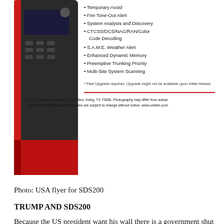[Figure (photo): Photo of a Uniden SDS200 scanner radio (red and black device on left), with a list of features on the right including: Temporary Avoid, Fire Tone-Out Alert, System Analysis and Discovery, CTCSS/DCS/NAC/RAN/Color Code Decoding, S.A.M.E. Weather Alert, Enhanced Dynamic Memory, Preemptive Trunking Priority, Multi-Site System Scanning. A footnote reads: * Paid Upgrade required. Upgrade might not be available upon initial release. A red horizontal line, then a copyright notice: © 2018 Uniden America Corporation, Irving, TX 75006. Photography may differ from actual product. Specifications and features are subject to change without notice. www.uniden.com]
Photo: USA flyer for SDS200
TRUMP AND SDS200
Because the US president want his wall there is a government shut down in USA now. It also means that the FCC is partly closing down. The approval for SDS200 came just in time, but Uniden and other manufacturers are getting